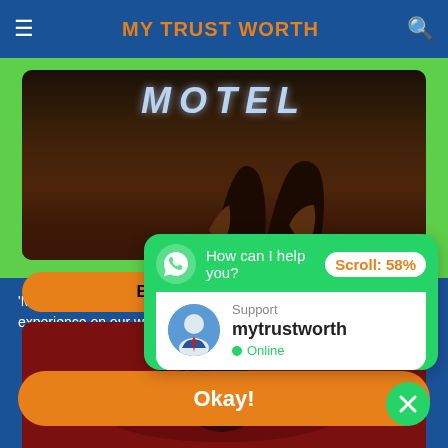MY TRUST WORTH
[Figure (screenshot): Bates Motel TV show promotional image with dark silhouettes against a night sky, MOTEL text in blue neon letters]
Bates Motel - ENGLISH
[Figure (photo): Dark red/maroon scene from Bates Motel showing a person lying down]
'My Trust Worth' uses c... experience on our websi...
[Figure (screenshot): WhatsApp support chat popup. Header: 'How can I help you?' with Scroll: 58% badge. Support section shows avatar, 'Support mytrustworth' with green Online indicator.]
Okay!